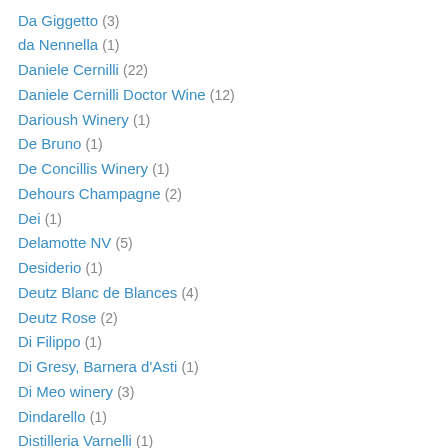Da Giggetto (3)
da Nennella (1)
Daniele Cernilli (22)
Daniele Cernilli Doctor Wine (12)
Darioush Winery (1)
De Bruno (1)
De Concillis Winery (1)
Dehours Champagne (2)
Dei (1)
Delamotte NV (5)
Desiderio (1)
Deutz Blanc de Blances (4)
Deutz Rose (2)
Di Filippo (1)
Di Gresy, Barnera d'Asti (1)
Di Meo winery (3)
Dindarello (1)
Distilleria Varnelli (1)
Doctor Wine (1)
Dolcetto (17)